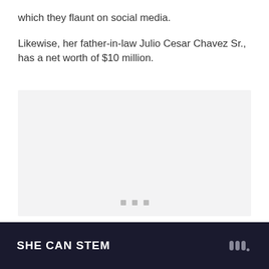which they flaunt on social media.
Likewise, her father-in-law Julio Cesar Chavez Sr., has a net worth of $10 million.
[Figure (photo): Image placeholder with three small grey dots at the bottom center indicating a carousel or image slider]
SHE CAN STEM